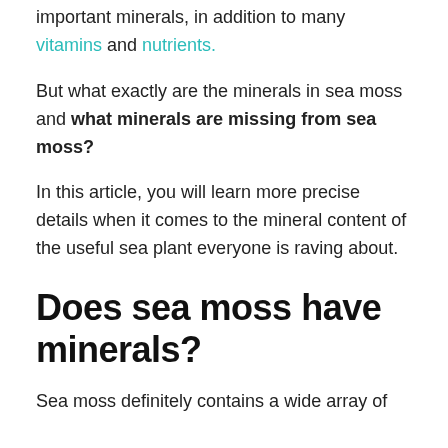Sea moss does indeed contain many of these important minerals, in addition to many vitamins and nutrients.
But what exactly are the minerals in sea moss and what minerals are missing from sea moss?
In this article, you will learn more precise details when it comes to the mineral content of the useful sea plant everyone is raving about.
Does sea moss have minerals?
Sea moss definitely contains a wide array of